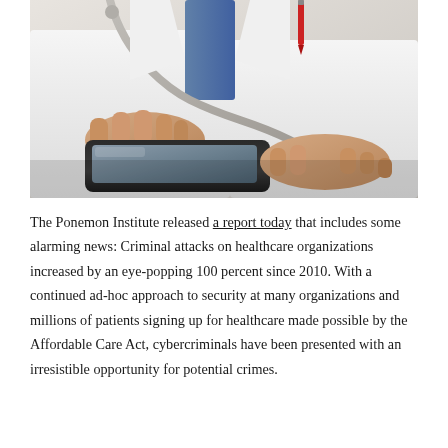[Figure (photo): Close-up photo of a doctor in a white coat with a stethoscope, using a smartphone/tablet with both hands. A red pen is visible in the coat pocket.]
The Ponemon Institute released a report today that includes some alarming news: Criminal attacks on healthcare organizations increased by an eye-popping 100 percent since 2010. With a continued ad-hoc approach to security at many organizations and millions of patients signing up for healthcare made possible by the Affordable Care Act, cybercriminals have been presented with an irresistible opportunity for potential crimes.